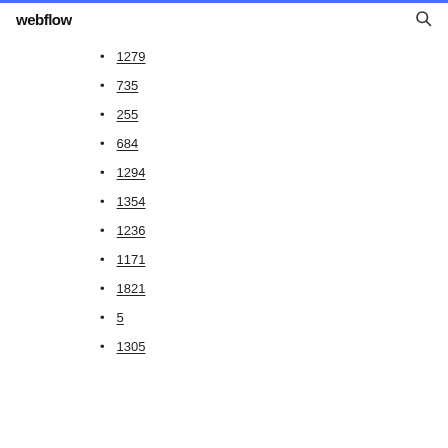webflow
1279
735
255
684
1294
1354
1236
1171
1821
5
1305